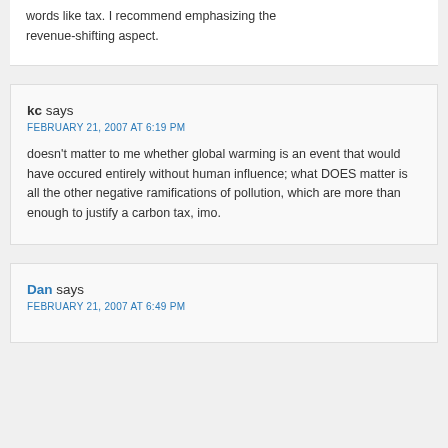words like tax. I recommend emphasizing the revenue-shifting aspect.
kc says
FEBRUARY 21, 2007 AT 6:19 PM
doesn't matter to me whether global warming is an event that would have occured entirely without human influence; what DOES matter is all the other negative ramifications of pollution, which are more than enough to justify a carbon tax, imo.
Dan says
FEBRUARY 21, 2007 AT 6:49 PM